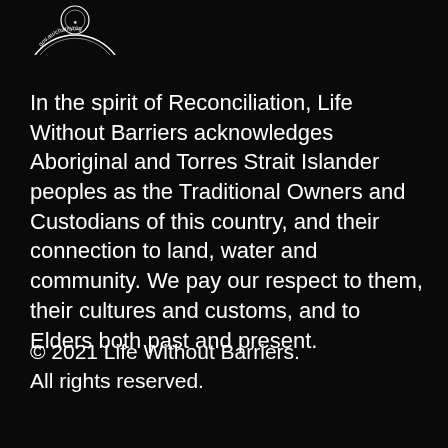[Figure (logo): Partial circular logo/seal with text 'gov.au/charityreg' visible along the arc, white on black background]
In the spirit of Reconciliation, Life Without Barriers acknowledges Aboriginal and Torres Strait Islander peoples as the Traditional Owners and Custodians of this country, and their connection to land, water and community. We pay our respect to them, their cultures and customs, and to Elders both past and present.
© 2021 Life Without Barriers.
All rights reserved.